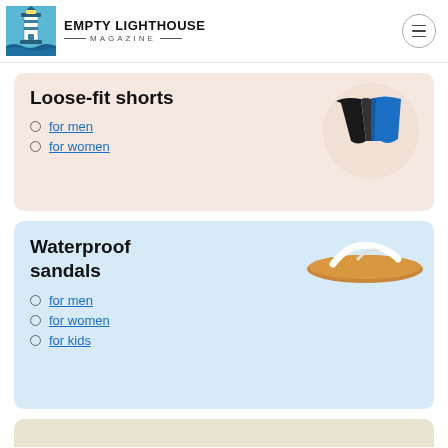EMPTY LIGHTHOUSE MAGAZINE
Loose-fit shorts
for men
for women
Waterproof sandals
for men
for women
for kids